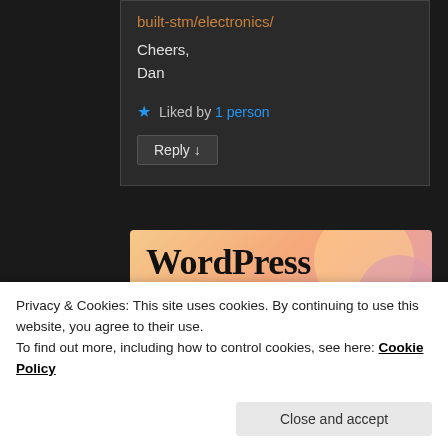built-stm/electronics/
Cheers,
Dan
Liked by 1 person
Reply ↓
[Figure (illustration): WordPress advertisement banner with text 'WordPress in the back.' on a peach/orange gradient background with decorative circles]
Privacy & Cookies: This site uses cookies. By continuing to use this website, you agree to their use.
To find out more, including how to control cookies, see here: Cookie Policy
Close and accept